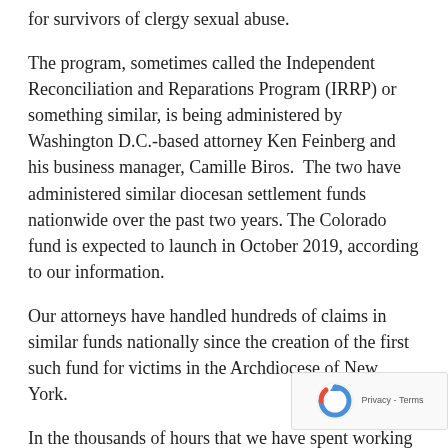for survivors of clergy sexual abuse.
The program, sometimes called the Independent Reconciliation and Reparations Program (IRRP) or something similar, is being administered by Washington D.C.-based attorney Ken Feinberg and his business manager, Camille Biros.  The two have administered similar diocesan settlement funds nationwide over the past two years. The Colorado fund is expected to launch in October 2019, according to our information.
Our attorneys have handled hundreds of claims in similar funds nationally since the creation of the first such fund for victims in the Archdiocese of New York.
In the thousands of hours that we have spent working on the claims, we have noticed that our clients, all of whom are survivors of childhood sexual abuse, often ask us similar questions about the independent compensation programs.  We have included some of those questions –